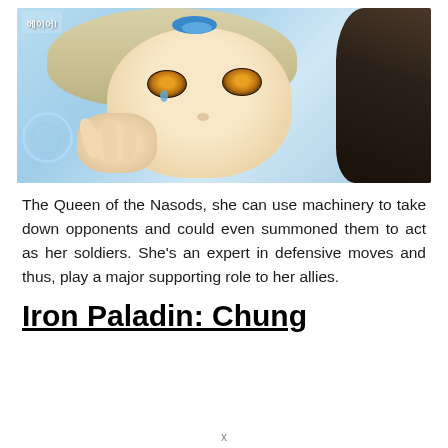[Figure (illustration): Anime character illustration showing a female character with golden/amber eyes, light blonde-white hair with blue accessories, bare shoulders, posed against a light blue background with dark elements on the right side. Has a game logo/text in Korean at the top left corner.]
The Queen of the Nasods, she can use machinery to take down opponents and could even summoned them to act as her soldiers. She's an expert in defensive moves and thus, play a major supporting role to her allies.
Iron Paladin: Chung